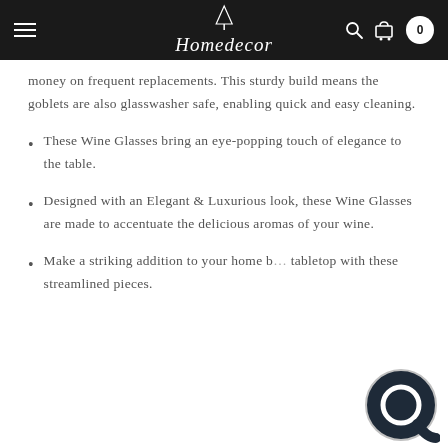Homedecor
money on frequent replacements. This sturdy build means the goblets are also glasswasher safe, enabling quick and easy cleaning.
These Wine Glasses bring an eye-popping touch of elegance to the table.
Designed with an Elegant & Luxurious look, these Wine Glasses are made to accentuate the delicious aromas of your wine.
Make a striking addition to your home b… tabletop with these streamlined pieces.